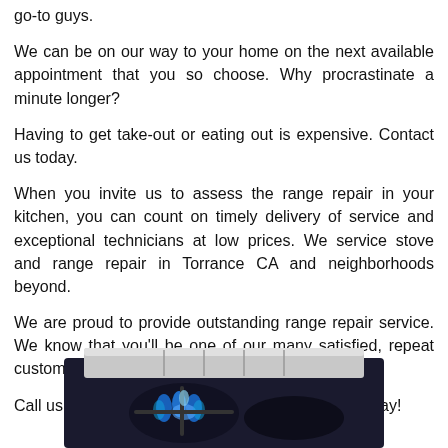go-to guys.
We can be on our way to your home on the next available appointment that you so choose. Why procrastinate a minute longer?
Having to get take-out or eating out is expensive. Contact us today.
When you invite us to assess the range repair in your kitchen, you can count on timely delivery of service and exceptional technicians at low prices. We service stove and range repair in Torrance CA and neighborhoods beyond.
We are proud to provide outstanding range repair service. We know that you'll be one of our many satisfied, repeat customers.
Call us today, and kiss your range repair worries away!
[Figure (photo): Photo of a gas stove burner with blue flames visible, metallic stove top surface]